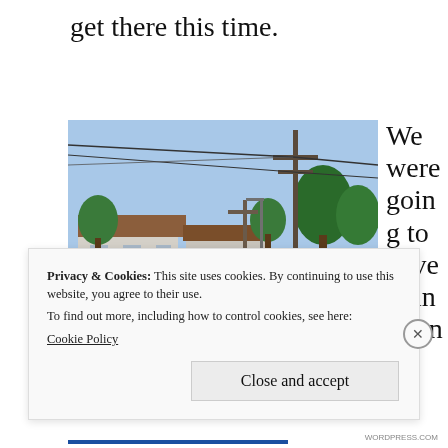get there this time.
[Figure (photo): Street scene photographed from inside a car, showing a road with a motorcycle rider, a tractor, and farm equipment. White houses on the left, trees and a utility/electricity pole in the background under a clear blue sky.]
We were going to have dinner on
Privacy & Cookies: This site uses cookies. By continuing to use this website, you agree to their use.
To find out more, including how to control cookies, see here:
Cookie Policy
Close and accept